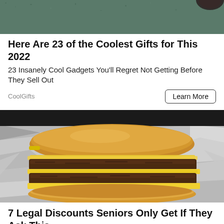[Figure (photo): Partial top image showing a textured teal/green surface, partially cut off at top of page]
Here Are 23 of the Coolest Gifts for This 2022
23 Insanely Cool Gadgets You'll Regret Not Getting Before They Sell Out
CoolGifts
Learn More
[Figure (photo): A double cheeseburger wrapped in aluminum foil, showing two beef patties with melted yellow cheese and onions on a golden bun]
7 Legal Discounts Seniors Only Get If They Ask This